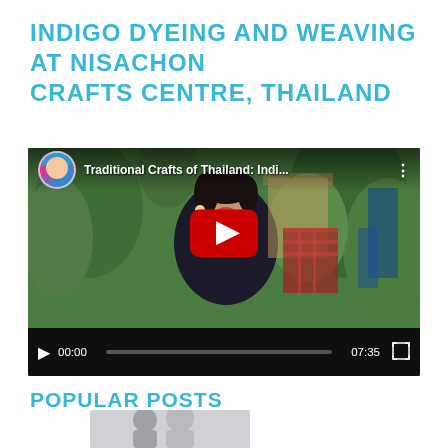Indigo Dyeing and Weaving at Nisachon Crafts Centre, Thailand
[Figure (screenshot): Embedded YouTube video player showing 'Traditional Crafts of Thailand: Indi...' with a Thai woman in foreground and green garden background. Video controls show 00:00 current time and 07:35 total duration. Large red play button centered on video.]
Popular Posts
[Figure (photo): Partially visible thumbnail image at bottom of page showing people, appears to be a blog post thumbnail preview.]